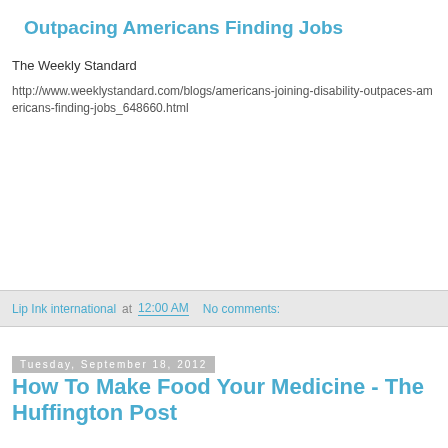Outpacing Americans Finding Jobs
The Weekly Standard
http://www.weeklystandard.com/blogs/americans-joining-disability-outpaces-americans-finding-jobs_648660.html
Lip Ink international at 12:00 AM   No comments:
Tuesday, September 18, 2012
How To Make Food Your Medicine - The Huffington Post